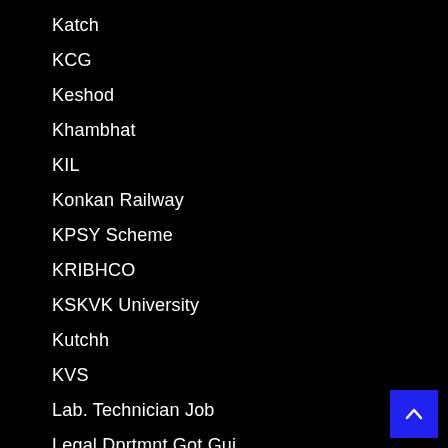Katch
KCG
Keshod
Khambhat
KIL
Konkan Railway
KPSY Scheme
KRIBHCO
KSKVK University
Kutchh
KVS
Lab. Technician Job
Legal Dprtmnt Got.Guj.
LIC INDIA
LifeStyle